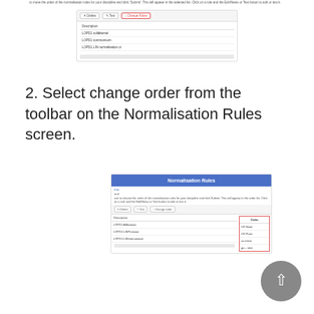[Figure (screenshot): Screenshot of Normalisation Rules table with tabs (Delete, Test, Change Rules highlighted in red border), showing Description column with entries LOPD1 Collalternal, LOPD1 commonsum, LOPD1 LIN normalisation.]
2. Select change order from the toolbar on the Normalisation Rules screen.
[Figure (screenshot): Screenshot of Normalisation Rules screen with blue header, toolbar with Change Order highlighted, table with Description (LOPD1 Affiliatione, LOPD1 LINPremium, LOPD1 LINInternational) and Order column shown with red border highlight.]